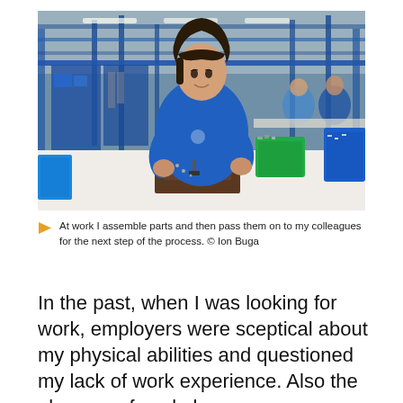[Figure (photo): A woman in a blue t-shirt sits at a workbench in an industrial factory, assembling small parts. Behind her are colleagues also working at stations. The factory has blue metal shelving and equipment. Colorful plastic bins (green, blue) sit on and near the workbench.]
At work I assemble parts and then pass them on to my colleagues for the next step of the process. © Ion Buga
In the past, when I was looking for work, employers were sceptical about my physical abilities and questioned my lack of work experience. Also the absence of workplace